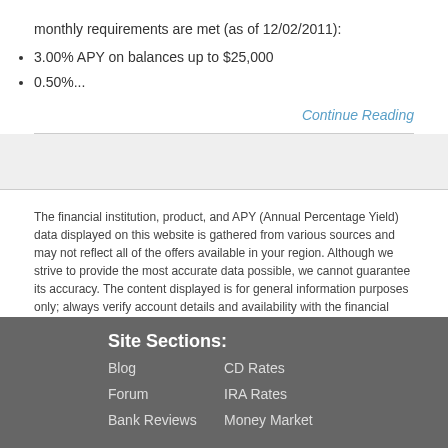monthly requirements are met (as of 12/02/2011):
3.00% APY on balances up to $25,000
0.50%...
Continue Reading
The financial institution, product, and APY (Annual Percentage Yield) data displayed on this website is gathered from various sources and may not reflect all of the offers available in your region. Although we strive to provide the most accurate data possible, we cannot guarantee its accuracy. The content displayed is for general information purposes only; always verify account details and availability with the financial institution before opening an account. Contact feedback@depositaccounts.com to report inaccurate info or to request offers be included in this website. We are not affiliated with the financial institutions included in this website.
Site Sections:
Blog
CD Rates
Forum
IRA Rates
Bank Reviews
Money Market